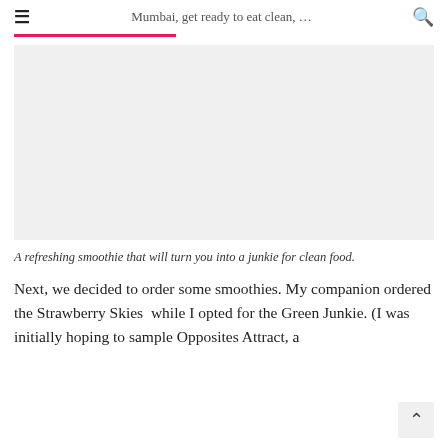Mumbai, get ready to eat clean, …
[Figure (photo): A photo of a refreshing smoothie (image area appears blank/white in this rendering)]
A refreshing smoothie that will turn you into a junkie for clean food.
Next, we decided to order some smoothies. My companion ordered the Strawberry Skies  while I opted for the Green Junkie. (I was initially hoping to sample Opposites Attract, a